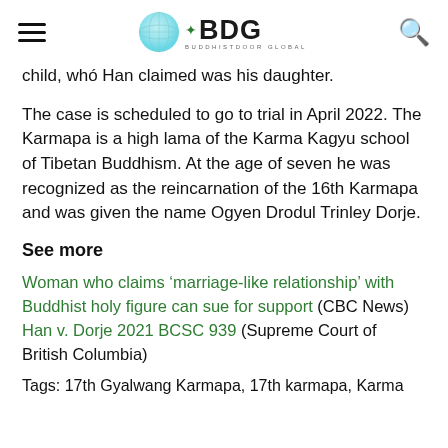BDG BUDDHISTDOOR GLOBAL
child, who Han claimed was his daughter.
The case is scheduled to go to trial in April 2022. The Karmapa is a high lama of the Karma Kagyu school of Tibetan Buddhism. At the age of seven he was recognized as the reincarnation of the 16th Karmapa and was given the name Ogyen Drodul Trinley Dorje.
See more
Woman who claims ‘marriage-like relationship’ with Buddhist holy figure can sue for support (CBC News)
Han v. Dorje 2021 BCSC 939 (Supreme Court of British Columbia)
Tags: 17th Gyalwang Karmapa, 17th karmapa, Karma